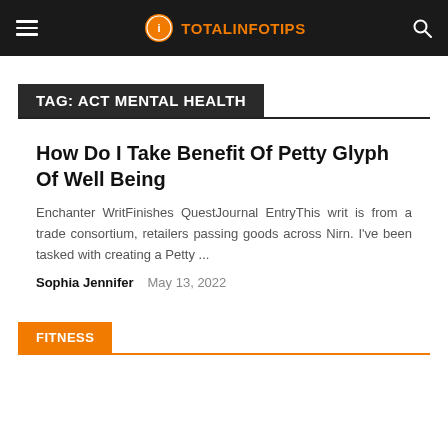TOTALINFOTIPS
TAG: ACT MENTAL HEALTH
How Do I Take Benefit Of Petty Glyph Of Well Being
Enchanter WritFinishes QuestJournal EntryThis writ is from a trade consortium, retailers passing goods across Nirn. I've been tasked with creating a Petty ...
Sophia Jennifer   May 13, 2022
FITNESS